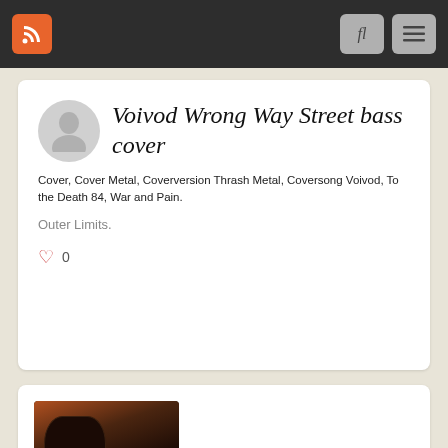[Figure (screenshot): Navigation bar with RSS feed icon (orange), search (fl) button and menu (hamburger) button on dark background]
Voivod Wrong Way Street bass cover
Cover, Cover Metal, Coverversion Thrash Metal, Coversong Voivod, To the Death 84, War and Pain.
Outer Limits.
0
[Figure (photo): Dark concert photograph showing a person with long hair playing guitar on stage with an orange/brown background]